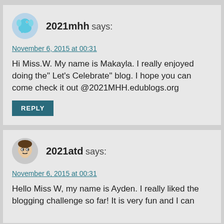2021mhh says:
November 6, 2015 at 00:31
Hi Miss.W. My name is Makayla. I really enjoyed doing the" Let's Celebrate" blog. I hope you can come check it out @2021MHH.edublogs.org
REPLY
2021atd says:
November 6, 2015 at 00:31
Hello Miss W, my name is Ayden. I really liked the blogging challenge so far! It is very fun and I can